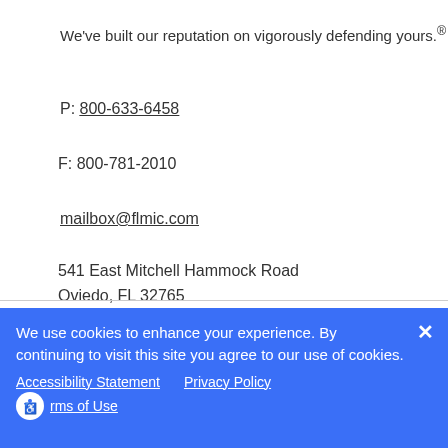We've built our reputation on vigorously defending yours.®
P: 800-633-6458
F: 800-781-2010
mailbox@flmic.com
541 East Mitchell Hammock Road
Oviedo, FL 32765
We use cookies to enhance your experience. By continuing to visit this site you agree to our use of cookies.
Accessibility Statement  Privacy Policy
rms of Use